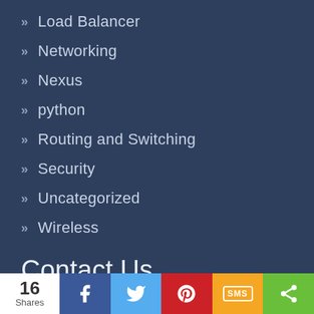Load Balancer
Networking
Nexus
python
Routing and Switching
Security
Uncategorized
Wireless
Contact Us
NM-20,1st floor, Old DLF Colony, Sector-14, Gurgaon 122001 Haryana, India
16 Shares